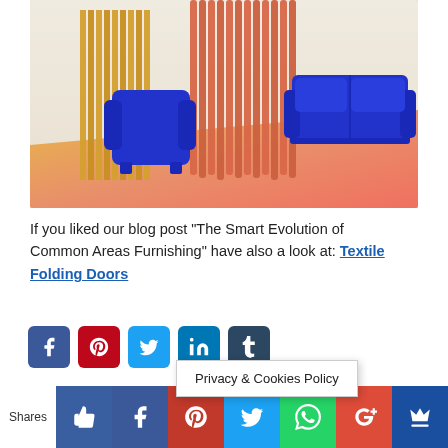[Figure (photo): A bright interior scene with a blue armchair and blue sofa against yellow and orange-red textured folding panels on a salmon-colored floor.]
If you liked our blog post “The Smart Evolution of Common Areas Furnishing” have also a look at: Textile Folding Doors
[Figure (infographic): Row of social share icons: Facebook, Pinterest, Twitter, LinkedIn, Tumblr. Privacy & Cookies Policy popup overlay. Bottom share bar with thumbs-up, Facebook, Pinterest, Twitter, WhatsApp, Google+, and crown icons.]